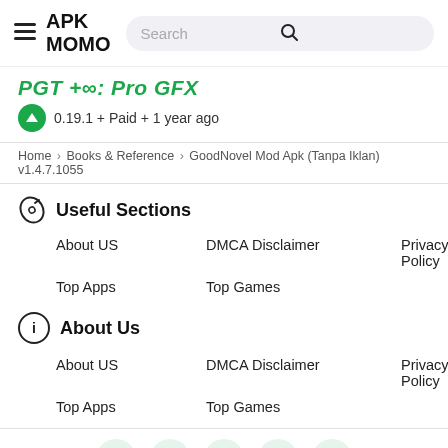APK MOMO
PGT+∞: Pro GFX
0.19.1 + Paid + 1 year ago
Home › Books & Reference › GoodNovel Mod Apk (Tanpa Iklan) v1.4.7.1055
Useful Sections
About US
DMCA Disclaimer
Privacy Policy
Top Apps
Top Games
About Us
About US
DMCA Disclaimer
Privacy Policy
Top Apps
Top Games
[Figure (other): Social media icons: Facebook, Twitter, YouTube, Instagram, Telegram]